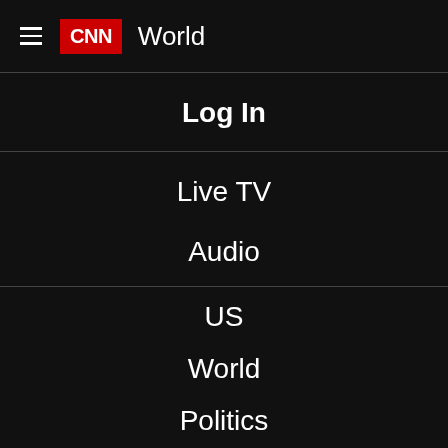CNN World
Log In
Live TV
Audio
US
World
Politics
Business
Opinion
Health